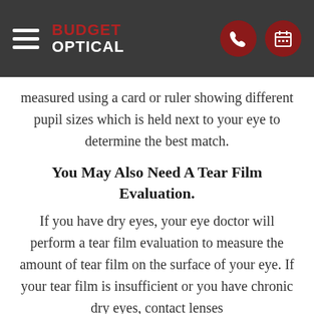Budget Optical
measured using a card or ruler showing different pupil sizes which is held next to your eye to determine the best match.
You May Also Need A Tear Film Evaluation.
If you have dry eyes, your eye doctor will perform a tear film evaluation to measure the amount of tear film on the surface of your eye. If your tear film is insufficient or you have chronic dry eyes, contact lenses